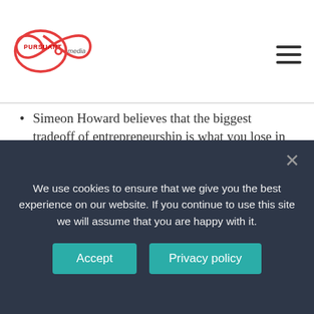Pursuant Media logo and navigation
Simeon Howard believes that the biggest tradeoff of entrepreneurship is what you lose in your social life.
Sleep.
Expensive Spending Habits.
Life Ratio.
What does trade off means?
Definition of trade-off. 1 : a balancing of factors all of which are not attainable at the same time the education versus experience trade-off which governs personnel
We use cookies to ensure that we give you the best experience on our website. If you continue to use this site we will assume that you are happy with it.